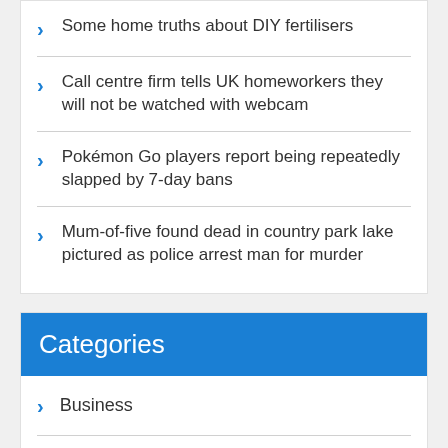Some home truths about DIY fertilisers
Call centre firm tells UK homeworkers they will not be watched with webcam
Pokémon Go players report being repeatedly slapped by 7-day bans
Mum-of-five found dead in country park lake pictured as police arrest man for murder
Categories
Business
Lifestyle